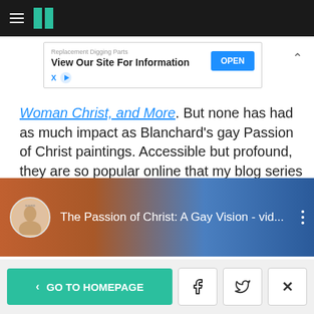HuffPost navigation bar
[Figure (screenshot): Advertisement banner: 'Replacement Digging Parts - View Our Site For Information' with OPEN button]
Woman Christ, and More. But none has had as much impact as Blanchard's gay Passion of Christ paintings. Accessible but profound, they are so popular online that my blog series about them was published recently as an illustrated book. Like the paintings, the book is titled The Passion of Christ: A Gay Vision..
[Figure (screenshot): YouTube video thumbnail showing 'The Passion of Christ: A Gay Vision - vid...' with channel avatar and three-dot menu]
< GO TO HOMEPAGE | Facebook | Twitter | X